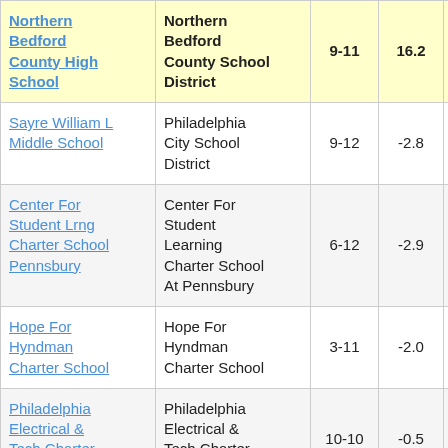| School | District | Grades | Score |  |
| --- | --- | --- | --- | --- |
| Northern Bedford County High School | Northern Bedford County School District | 9-11 | 16.2 | 3 |
| Sayre William L Middle School | Philadelphia City School District | 9-12 | -2.8 |  |
| Center For Student Lrng Charter School Pennsbury | Center For Student Learning Charter School At Pennsbury | 6-12 | -2.9 |  |
| Hope For Hyndman Charter School | Hope For Hyndman Charter School | 3-11 | -2.0 |  |
| Philadelphia Electrical & Tech Charter High School | Philadelphia Electrical & Tech Charter High School | 10-10 | -0.5 |  |
| Philadelphia | Philadelphia |  |  |  |